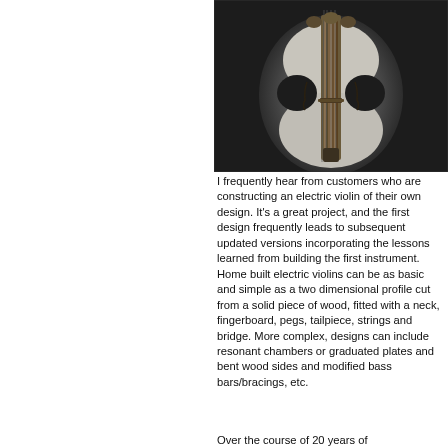[Figure (photo): Black and white overhead photograph of an electric violin body showing laminated wood grain pattern, strings, bridge area, and tuning pegs visible at top.]
I frequently hear from customers who are constructing an electric violin of their own design. It's a great project, and the first design frequently leads to subsequent updated versions incorporating the lessons learned from building the first instrument. Home built electric violins can be as basic and simple as a two dimensional profile cut from a solid piece of wood, fitted with a neck, fingerboard, pegs, tailpiece, strings and bridge. More complex, designs can include resonant chambers or graduated plates and bent wood sides and modified bass bars/bracings, etc.
Over the course of 20 years of...